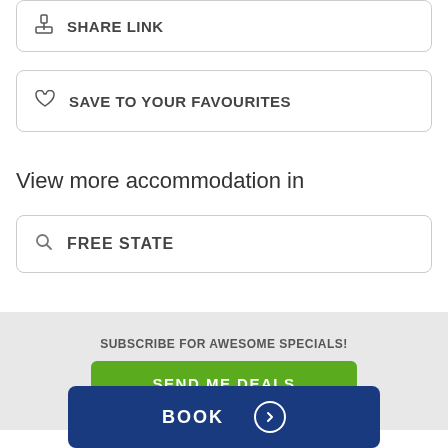SHARE LINK
SAVE TO YOUR FAVOURITES
View more accommodation in
FREE STATE
SUBSCRIBE FOR AWESOME SPECIALS!
SEND ME DEALS
BOOK